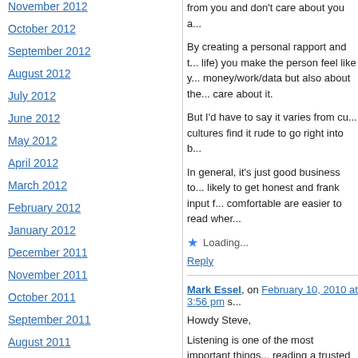November 2012
October 2012
September 2012
August 2012
July 2012
June 2012
May 2012
April 2012
March 2012
February 2012
January 2012
December 2011
November 2011
October 2011
September 2011
August 2011
from you and don't care about you a...
By creating a personal rapport and t... life) you make the person feel like y... money/work/data but also about the... care about it.
But I'd have to say it varies from cu... cultures find it rude to go right into b...
In general, it's just good business to... likely to get honest and frank input f... comfortable are easier to read wher...
Loading...
Reply
Mark Essel, on February 10, 2010 at 3:56 pm s...
Howdy Steve,
Listening is one of the most important things... reading a trusted sources post, or listening... best to tune in. That type of listening makes... when I'm talking about a) something I'm not... authority is talking to me. I feel inhibited in a... best and I'm not sure how to work around it...